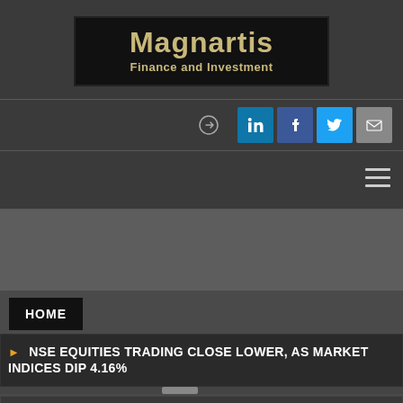[Figure (logo): Magnartis Finance and Investment logo — black background, gold/tan serif text]
[Figure (infographic): Social media icons: login arrow, LinkedIn, Facebook, Twitter, Email]
[Figure (infographic): Hamburger menu icon (three horizontal lines)]
HOME
NSE EQUITIES TRADING CLOSE LOWER, AS MARKET INDICES DIP 4.16%
CAPITAL MARKET NEWS